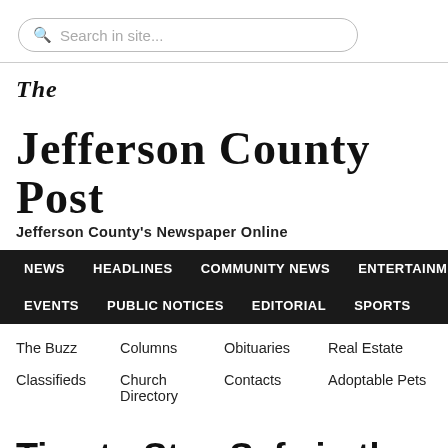Search in site...
The Jefferson County Post
Jefferson County's Newspaper Online
NEWS  HEADLINES  COMMUNITY NEWS  ENTERTAINMENT  EVENTS  PUBLIC NOTICES  EDITORIAL  SPORTS
The Buzz
Columns
Obituaries
Real Estate
Classifieds
Church Directory
Contacts
Adoptable Pets
Tips to Stay Safe in the Sun: From S Sunglasses